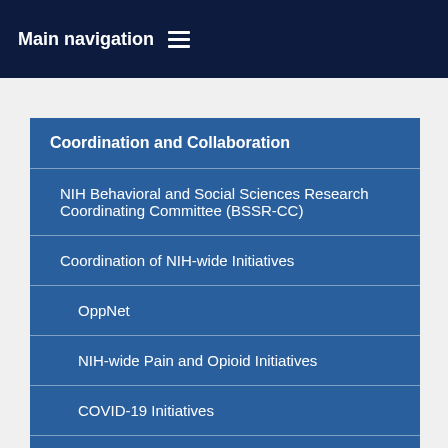Main navigation
Coordination and Collaboration
NIH Behavioral and Social Sciences Research Coordinating Committee (BSSR-CC)
Coordination of NIH-wide Initiatives
OppNet
NIH-wide Pain and Opioid Initiatives
COVID-19 Initiatives
Violence Research Initiatives
Staff Directory